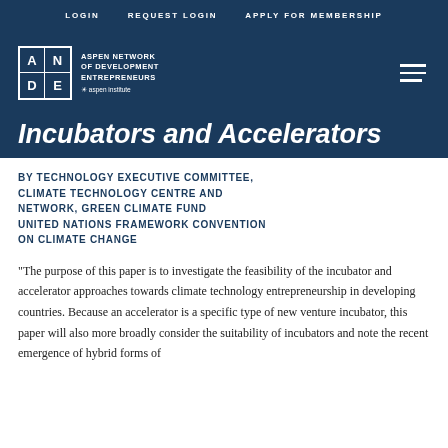LOGIN   REQUEST LOGIN   APPLY FOR MEMBERSHIP
[Figure (logo): ANDE – Aspen Network of Development Entrepreneurs logo with Aspen Institute branding on dark navy header bar]
Incubators and Accelerators
BY TECHNOLOGY EXECUTIVE COMMITTEE, CLIMATE TECHNOLOGY CENTRE AND NETWORK, GREEN CLIMATE FUND UNITED NATIONS FRAMEWORK CONVENTION ON CLIMATE CHANGE
"The purpose of this paper is to investigate the feasibility of the incubator and accelerator approaches towards climate technology entrepreneurship in developing countries. Because an accelerator is a specific type of new venture incubator, this paper will also more broadly consider the suitability of incubators and note the recent emergence of hybrid forms of